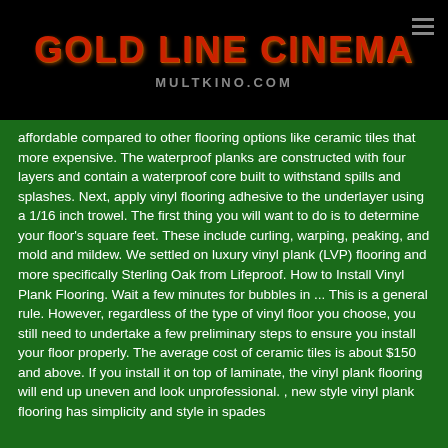GOLD LINE CINEMA
MULTKINO.COM
affordable compared to other flooring options like ceramic tiles that more expensive. The waterproof planks are constructed with four layers and contain a waterproof core built to withstand spills and splashes. Next, apply vinyl flooring adhesive to the underlayer using a 1/16 inch trowel. The first thing you will want to do is to determine your floor's square feet. These include curling, warping, peaking, and mold and mildew. We settled on luxury vinyl plank (LVP) flooring and more specifically Sterling Oak from Lifeproof. How to Install Vinyl Plank Flooring. Wait a few minutes for bubbles in ... This is a general rule. However, regardless of the type of vinyl floor you choose, you still need to undertake a few preliminary steps to ensure you install your floor properly. The average cost of ceramic tiles is about $150 and above. If you install it on top of laminate, the vinyl plank flooring will end up uneven and look unprofessional. , new style vinyl plank flooring has simplicity and style in spades